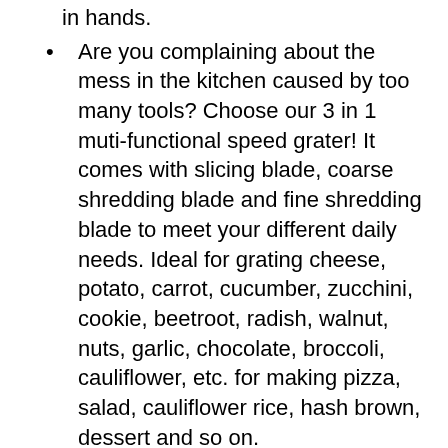in hands.
Are you complaining about the mess in the kitchen caused by too many tools? Choose our 3 in 1 muti-functional speed grater! It comes with slicing blade, coarse shredding blade and fine shredding blade to meet your different daily needs. Ideal for grating cheese, potato, carrot, cucumber, zucchini, cookie, beetroot, radish, walnut, nuts, garlic, chocolate, broccoli, cauliflower, etc. for making pizza, salad, cauliflower rice, hash brown, dessert and so on.
It can be assembled in 30 seconds. Firstly, put the base on a clean and smooth countertop, turn the knob from “RELEASE” to “LOCK”. Secondly, install